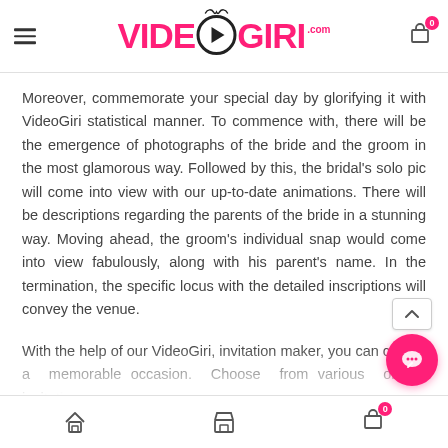[Figure (logo): VideoGiri.com logo with pink text, play button circle icon, and mustache graphic in header]
Moreover, commemorate your special day by glorifying it with VideoGiri statistical manner. To commence with, there will be the emergence of photographs of the bride and the groom in the most glamorous way. Followed by this, the bridal's solo pic will come into view with our up-to-date animations. There will be descriptions regarding the parents of the bride in a stunning way. Moving ahead, the groom's individual snap would come into view fabulously, along with his parent's name. In the termination, the specific locus with the detailed inscriptions will convey the venue.
With the help of our VideoGiri, invitation maker, you can create a memorable occasion. Choose from various online invitation designs for every event, personalize them, and send t…